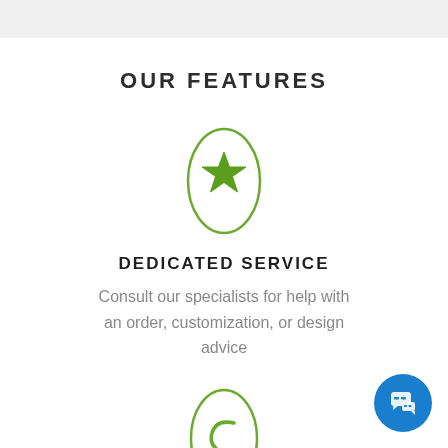OUR FEATURES
[Figure (illustration): Green oval outline with a green star icon inside, representing dedicated service feature]
DEDICATED SERVICE
Consult our specialists for help with an order, customization, or design advice
[Figure (illustration): Green oval outline with a green return/back arrow icon inside, representing free returns feature]
[Figure (illustration): Blue circular chat button with speech bubble icon in the bottom right corner]